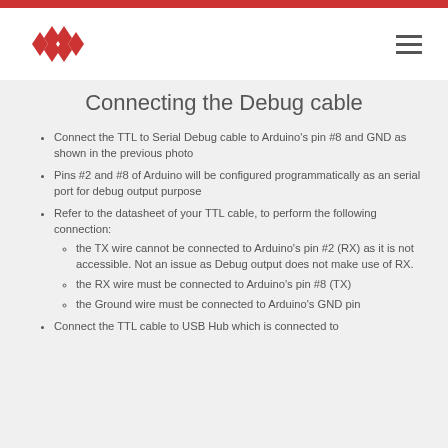Connecting the Debug cable
Connecting the Debug cable
Connect the TTL to Serial Debug cable to Arduino's pin #8 and GND as shown in the previous photo
Pins #2 and #8 of Arduino will be configured programmatically as an serial port for debug output purpose
Refer to the datasheet of your TTL cable, to perform the following connection: the TX wire cannot be connected to Arduino's pin #2 (RX) as it is not accessible. Not an issue as Debug output does not make use of RX. the RX wire must be connected to Arduino's pin #8 (TX) the Ground wire must be connected to Arduino's GND pin
Connect the TTL cable to USB Hub which is connected to